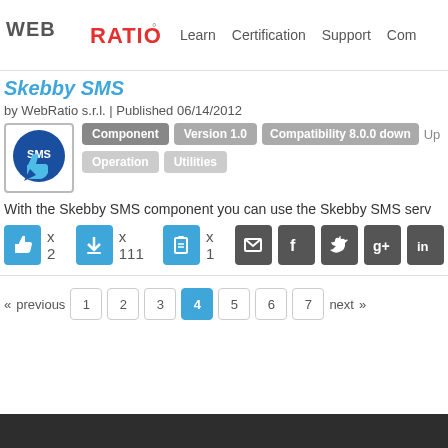WEB RATIO | Learn  Certification  Support  Com
Skebby SMS
by WebRatio s.r.l. | Published 06/14/2012
Component  Version 1.0  Compatibility 8.0.0 down  Up
Operation  Utilities
With the Skebby SMS component you can use the Skebby SMS serv
x 2  x 111  x 1
« previous  1  2  3  4  5  6  7  next »